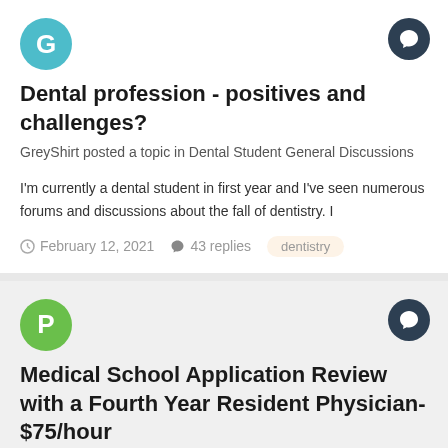[Figure (illustration): Teal circular avatar with letter G]
[Figure (illustration): Dark navy circular chat/reply icon button]
Dental profession - positives and challenges?
GreyShirt posted a topic in Dental Student General Discussions
I'm currently a dental student in first year and I've seen numerous forums and discussions about the fall of dentistry. I
February 12, 2021   43 replies   dentistry
[Figure (illustration): Green circular avatar with letter P]
[Figure (illustration): Dark navy circular chat/reply icon button]
Medical School Application Review with a Fourth Year Resident Physician- $75/hour
P1234 posted a topic in For Sale/Trade Classifieds
Hello applicants! I am a fourth year Resident Physician offering medical school application consulting and review for applicants